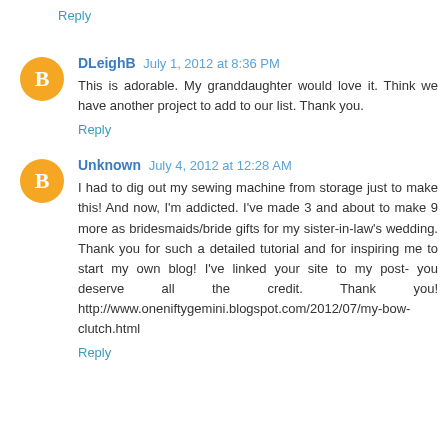Reply
DLeighB  July 1, 2012 at 8:36 PM
This is adorable. My granddaughter would love it. Think we have another project to add to our list. Thank you.
Reply
Unknown  July 4, 2012 at 12:28 AM
I had to dig out my sewing machine from storage just to make this! And now, I'm addicted. I've made 3 and about to make 9 more as bridesmaids/bride gifts for my sister-in-law's wedding. Thank you for such a detailed tutorial and for inspiring me to start my own blog! I've linked your site to my post- you deserve all the credit. Thank you! http://www.oneniftygemini.blogspot.com/2012/07/my-bow-clutch.html
Reply